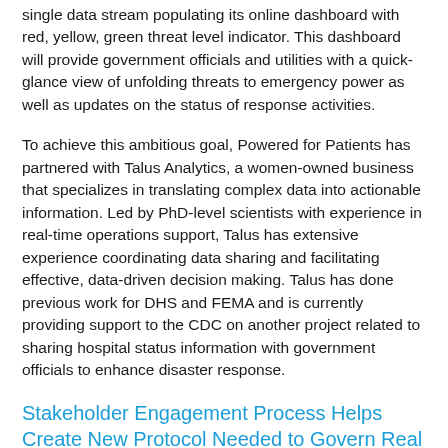single data stream populating its online dashboard with red, yellow, green threat level indicator. This dashboard will provide government officials and utilities with a quick-glance view of unfolding threats to emergency power as well as updates on the status of response activities.
To achieve this ambitious goal, Powered for Patients has partnered with Talus Analytics, a women-owned business that specializes in translating complex data into actionable information. Led by PhD-level scientists with experience in real-time operations support, Talus has extensive experience coordinating data sharing and facilitating effective, data-driven decision making. Talus has done previous work for DHS and FEMA and is currently providing support to the CDC on another project related to sharing hospital status information with government officials to enhance disaster response.
Stakeholder Engagement Process Helps Create New Protocol Needed to Govern Real Time Information Sharing